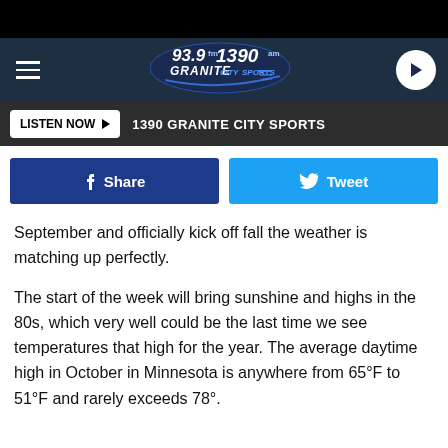[Figure (logo): 93.9 FM 1390 AM Granite City Sports radio logo with navigation bar including hamburger menu and play button]
[Figure (screenshot): Listen Now button with 1390 GRANITE CITY SPORTS text on dark bar]
[Figure (screenshot): Facebook Share button and Twitter Tweet button social sharing bar]
September and officially kick off fall the weather is matching up perfectly.
The start of the week will bring sunshine and highs in the 80s, which very well could be the last time we see temperatures that high for the year. The average daytime high in October in Minnesota is anywhere from 65°F to 51°F and rarely exceeds 78°.